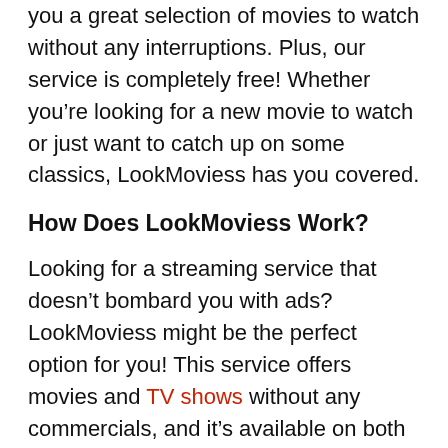you a great selection of movies to watch without any interruptions. Plus, our service is completely free! Whether you're looking for a new movie to watch or just want to catch up on some classics, LookMoviess has you covered.
How Does LookMoviess Work?
Looking for a streaming service that doesn't bombard you with ads? LookMoviess might be the perfect option for you! This service offers movies and TV shows without any commercials, and it's available on both desktop and mobile platforms. You can also use LookMoviess to access content from various countries around the world. Simply install the app and start watching!